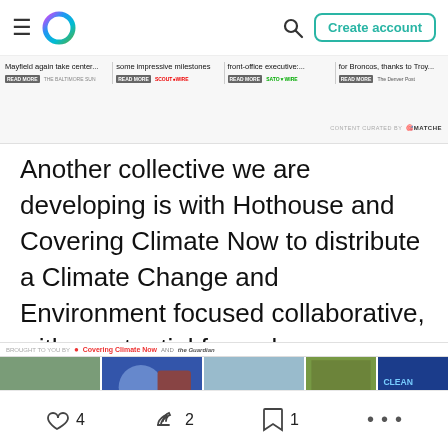Navigation bar with menu, logo, search and Create account button
[Figure (screenshot): News ticker strip with four news headlines: 'Mayfield again take center...', 'some impressive milestones', 'front-office executive:...', 'for Broncos, thanks to Troy...' with Read More buttons and source logos. Content curated by TheMatche.]
Another collective we are developing is with Hothouse and Covering Climate Now to distribute a Climate Change and Environment focused collaborative, with a potential for web monetization based donations to several hundred participating publishers.
[Figure (screenshot): Screenshot of a Covering Climate Now and The Guardian article page showing multiple news thumbnails with climate-related images including protesters, politicians, and solar panels.]
4  2  1  ...